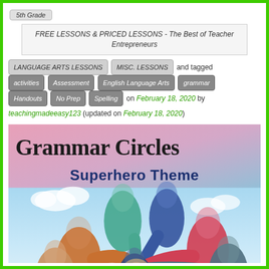5th Grade
FREE LESSONS & PRICED LESSONS - The Best of Teacher Entrepreneurs
LANGUAGE ARTS LESSONS   MISC. LESSONS   and tagged   activities   Assessment   English Language Arts   grammar   Handouts   No Prep   Spelling   on February 18, 2020 by teachingmadeeasy123 (updated on February 18, 2020)
[Figure (illustration): Grammar Circles Superhero Theme product image showing text 'Grammar Circles' in bold handwritten style and 'Superhero Theme' in dark blue, with a photo of a diverse group of people doing a team huddle with hands joined in the center, viewed from below against a blue sky.]